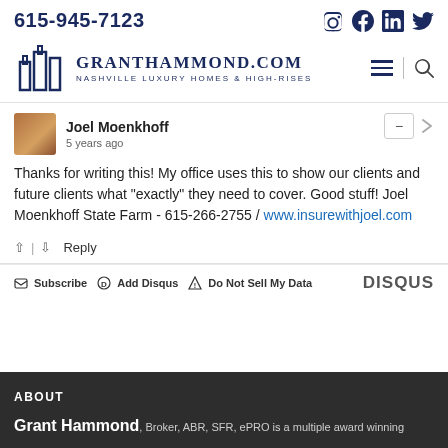615-945-7123
[Figure (logo): GrantHammond.com Nashville Luxury Homes & High-Rises logo with building icon]
Joel Moenkhoff
5 years ago
Thanks for writing this! My office uses this to show our clients and future clients what "exactly" they need to cover. Good stuff! Joel Moenkhoff State Farm - 615-266-2755 / www.insurewithjoel.com
Subscribe  Add Disqus  Do Not Sell My Data  DISQUS
ABOUT
Grant Hammond, Broker, ABR, SFR, ePRO is a multiple award winning